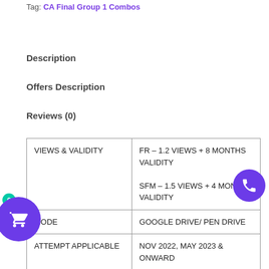Tag: CA Final Group 1 Combos
Description
Offers Description
Reviews (0)
| VIEWS & VALIDITY | FR – 1.2 VIEWS + 8 MONTHS VALIDITY
SFM – 1.5 VIEWS + 4 MONTHS VALIDITY |
| MODE | GOOGLE DRIVE/ PEN DRIVE |
| ATTEMPT APPLICABLE | NOV 2022, MAY 2023 & ONWARD |